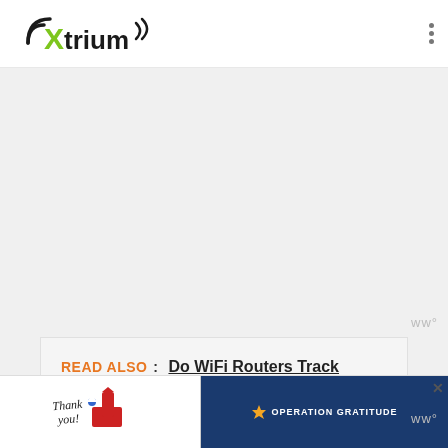Xtrium
[Figure (other): Gray banner / advertisement placeholder area]
ww°
READ ALSO :  Do WiFi Routers Track Internet History? Facts Revealed
Once your router restarts, it will work on a 2.4GHz frequency. However, if, for some reason, you are unable to ch...age
[Figure (other): Bottom advertisement banner: Thank you Operation Gratitude with soldiers photo]